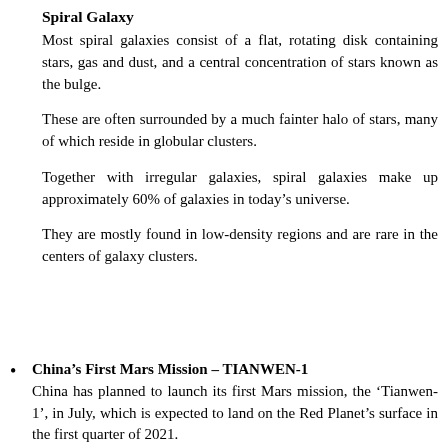Spiral Galaxy
Most spiral galaxies consist of a flat, rotating disk containing stars, gas and dust, and a central concentration of stars known as the bulge.
These are often surrounded by a much fainter halo of stars, many of which reside in globular clusters.
Together with irregular galaxies, spiral galaxies make up approximately 60% of galaxies in today's universe.
They are mostly found in low-density regions and are rare in the centers of galaxy clusters.
China's First Mars Mission – TIANWEN-1 China has planned to launch its first Mars mission, the 'Tianwen-1', in July, which is expected to land on the Red Planet's surface in the first quarter of 2021.